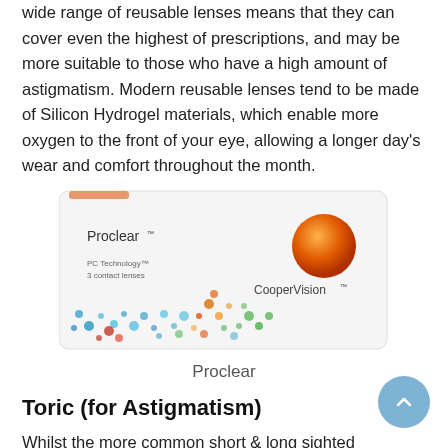wide range of reusable lenses means that they can cover even the highest of prescriptions, and may be more suitable to those who have a high amount of astigmatism. Modern reusable lenses tend to be made of Silicon Hydrogel materials, which enable more oxygen to the front of your eye, allowing a longer day's wear and comfort throughout the month.
[Figure (photo): Proclear contact lenses product box by CooperVision, white box with colorful dot pattern and orange sphere logo]
Proclear
Toric (for Astigmatism)
Whilst the more common short & long sighted